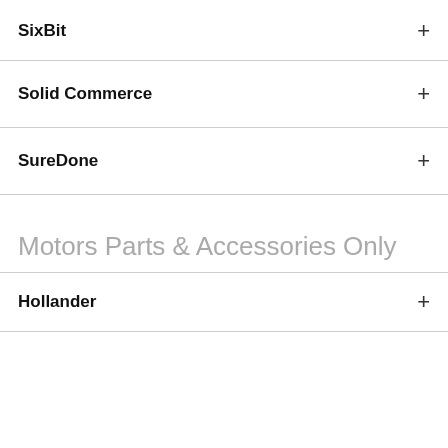SixBit
Solid Commerce
SureDone
Motors Parts & Accessories Only
Hollander